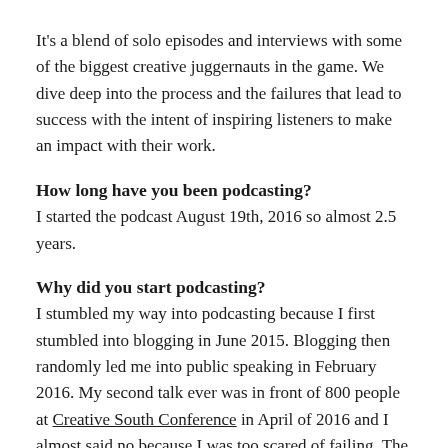It's a blend of solo episodes and interviews with some of the biggest creative juggernauts in the game. We dive deep into the process and the failures that lead to success with the intent of inspiring listeners to make an impact with their work.
How long have you been podcasting?
I started the podcast August 19th, 2016 so almost 2.5 years.
Why did you start podcasting?
I stumbled my way into podcasting because I first stumbled into blogging in June 2015. Blogging then randomly led me into public speaking in February 2016. My second talk ever was in front of 800 people at Creative South Conference in April of 2016 and I almost said no because I was too scared of failing. The talk went extremely well, and I had waves of people telling me I should start a podcast. I realized my